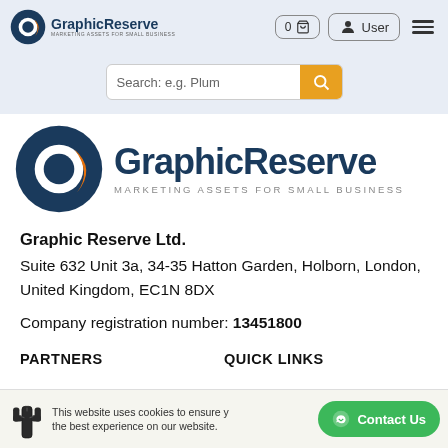GraphicReserve - MARKETING ASSETS FOR SMALL BUSINESS | 0 cart | User | menu
Search: e.g. Plum
[Figure (logo): GraphicReserve logo - large version with circular G icon in dark blue and orange, text GraphicReserve in dark blue bold, tagline MARKETING ASSETS FOR SMALL BUSINESS in grey]
Graphic Reserve Ltd.
Suite 632 Unit 3a, 34-35 Hatton Garden, Holborn, London, United Kingdom, EC1N 8DX
Company registration number: 13451800
PARTNERS
QUICK LINKS
This website uses cookies to ensure you get the best experience on our website.
Contact Us